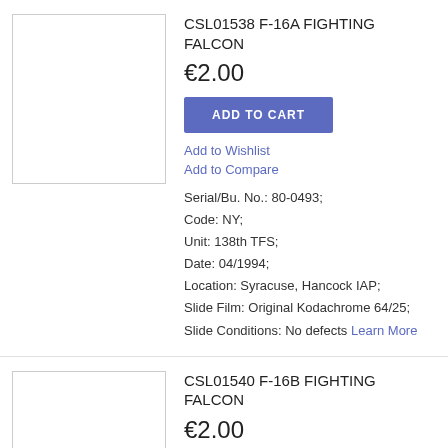[Figure (photo): Product image placeholder box (empty white box with border) for CSL01538 F-16A Fighting Falcon slide]
CSL01538 F-16A FIGHTING FALCON
€2.00
ADD TO CART
Add to Wishlist
Add to Compare
Serial/Bu. No.: 80-0493;
Code: NY;
Unit: 138th TFS;
Date: 04/1994;
Location: Syracuse, Hancock IAP;
Slide Film: Original Kodachrome 64/25;
Slide Conditions: No defects Learn More
[Figure (photo): Product image placeholder box (empty white box with border) for CSL01540 F-16B Fighting Falcon slide]
CSL01540 F-16B FIGHTING FALCON
€2.00
ADD TO CART
Add to Wishlist